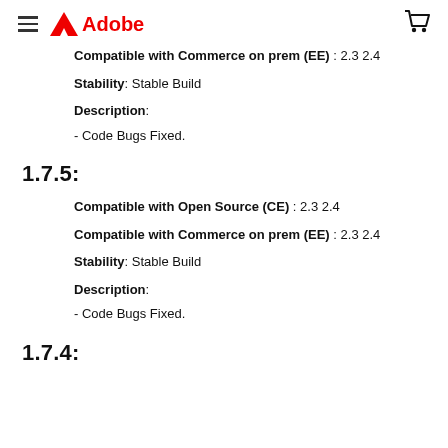Adobe
Compatible with Commerce on prem (EE) : 2.3 2.4
Stability: Stable Build
Description:
- Code Bugs Fixed.
1.7.5:
Compatible with Open Source (CE) : 2.3 2.4
Compatible with Commerce on prem (EE) : 2.3 2.4
Stability: Stable Build
Description:
- Code Bugs Fixed.
1.7.4: